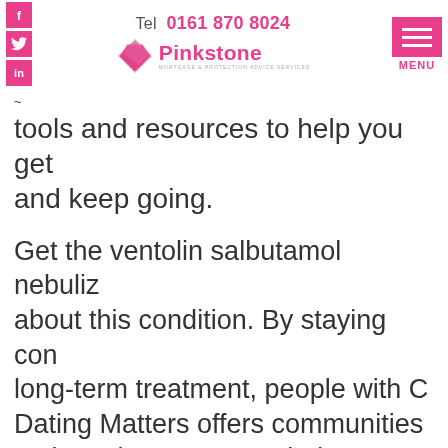Tel 0161 870 8024 | Pinkstone Mortgage & Protection Advice Services | MENU
tools and resources to help you get and keep going.
Get the ventolin salbutamol nebuliz about this condition. By staying con long-term treatment, people with C Dating Matters offers communities tools and resources to help you sta